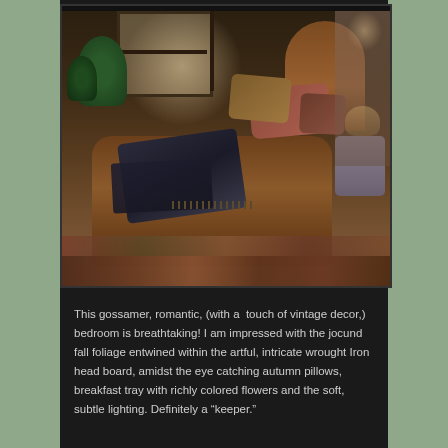[Figure (photo): A romantic vintage-style bedroom featuring a dark wood sleigh bed with rich autumn-colored pillows (burgundy, gold), a dark throw blanket draped over the bed, lush green plants near a window with diffused natural light, a patterned area rug, and a nightstand with a soft lamp glowing in the background.]
This gossamer, romantic, (with a  touch of vintage decor,) bedroom is breathtaking! I am impressed with the jocund fall foliage entwined within the artful, intricate wrought Iron head board, amidst the eye catching autumn pillows, breakfast tray with richly colored flowers and the soft, subtle lighting. Definitely a “keeper.”